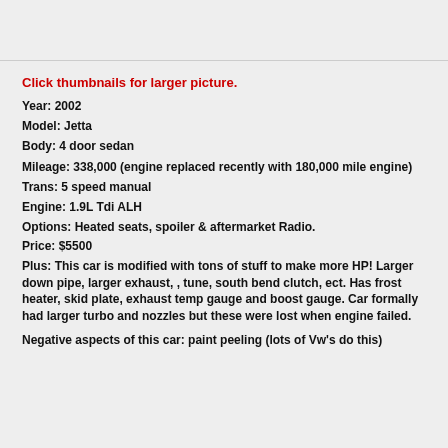Click thumbnails for larger picture.
Year:  2002
Model:  Jetta
Body:  4 door sedan
Mileage:  338,000 (engine replaced recently with 180,000 mile engine)
Trans:   5 speed manual
Engine:   1.9L Tdi ALH
Options:  Heated seats, spoiler & aftermarket Radio.
Price: $5500
Plus:  This car is modified with tons of stuff to make more HP!  Larger down pipe, larger exhaust,  ,  tune, south bend clutch, ect.  Has frost heater, skid plate,  exhaust temp gauge and boost gauge.   Car formally had larger turbo and nozzles but these were lost when engine failed.
Negative aspects of this car:  paint peeling (lots of Vw's do this)